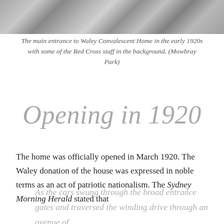[Figure (photo): Top portion of a historical black and white photograph showing the main entrance to Waley Convalescent Home in the early 1920s]
The main entrance to Waley Convalescent Home in the early 1920s with some of the Red Cross staff in the background. (Mowbray Park)
Opening in 1920
The home was officially opened in March 1920. The Waley donation of the house was expressed in noble terms as an act of patriotic nationalism. The Sydney Morning Herald stated that
As the cars swung through the broad entrance gates and traversed the winding drive through an avenue of